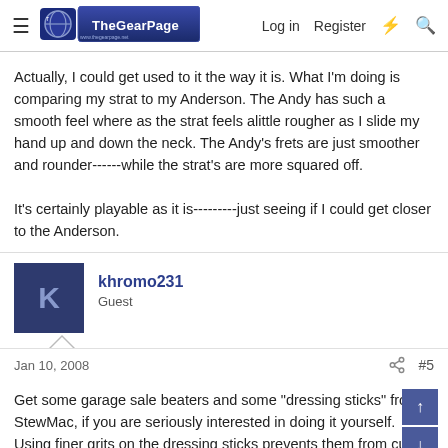The Gear Page — Log in  Register
Actually, I could get used to it the way it is. What I'm doing is comparing my strat to my Anderson. The Andy has such a smooth feel where as the strat feels alittle rougher as I slide my hand up and down the neck. The Andy's frets are just smoother and rounder------while the strat's are more squared off.

It's certainly playable as it is---------just seeing if I could get closer to the Anderson.
khromo231
Guest
Jan 10, 2008  #5
Get some garage sale beaters and some "dressing sticks" from StewMac, if you are seriously interested in doing it yourself. Using finer grits on the dressing sticks prevents them from cutting too fast, and makes major damage less likely. It takes time and patience, but